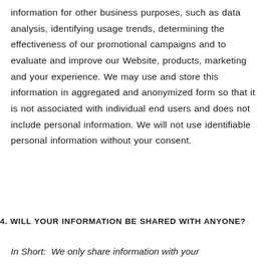information for other business purposes, such as data analysis, identifying usage trends, determining the effectiveness of our promotional campaigns and to evaluate and improve our Website, products, marketing and your experience. We may use and store this information in aggregated and anonymized form so that it is not associated with individual end users and does not include personal information. We will not use identifiable personal information without your consent.
WILL YOUR INFORMATION BE SHARED WITH ANYONE?
In Short:  We only share information with your consent, to comply with laws, to provide you with